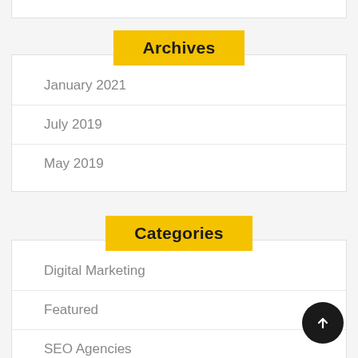Archives
January 2021
July 2019
May 2019
Categories
Digital Marketing
Featured
SEO Agencies